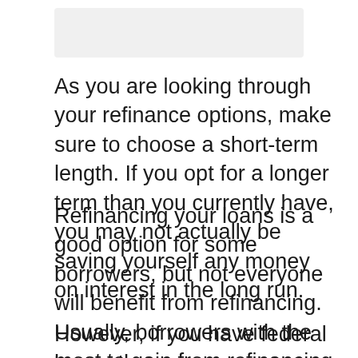[Figure (other): Placeholder image at top of page]
As you are looking through your refinance options, make sure to choose a short-term length. If you opt for a longer term than you currently have, you may not actually be saving yourself any money on interest in the long run.
Refinancing your loans is a good option for some borrowers, but not everyone will benefit from refinancing. Usually, borrowers with the most to gain from refinancing have private loans.
However, if you have federal loans, then